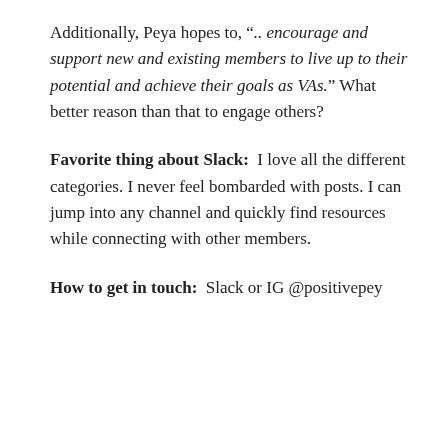Additionally, Peya hopes to, ".. encourage and support new and existing members to live up to their potential and achieve their goals as VAs." What better reason than that to engage others?
Favorite thing about Slack:  I love all the different categories. I never feel bombarded with posts. I can jump into any channel and quickly find resources while connecting with other members.
How to get in touch:  Slack or IG @positivepey